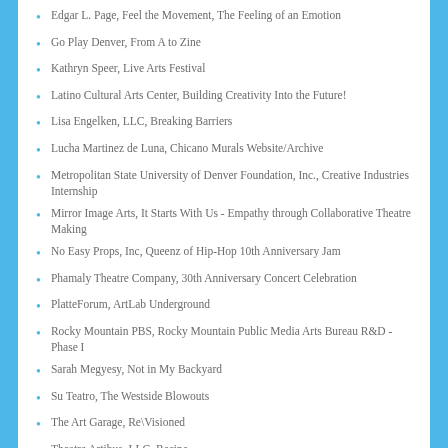Edgar L. Page, Feel the Movement, The Feeling of an Emotion
Go Play Denver, From A to Zine
Kathryn Speer, Live Arts Festival
Latino Cultural Arts Center, Building Creativity Into the Future!
Lisa Engelken, LLC, Breaking Barriers
Lucha Martinez de Luna, Chicano Murals Website/Archive
Metropolitan State University of Denver Foundation, Inc., Creative Industries Internship
Mirror Image Arts, It Starts With Us - Empathy through Collaborative Theatre Making
No Easy Props, Inc, Queenz of Hip-Hop 10th Anniversary Jam
Phamaly Theatre Company, 30th Anniversary Concert Celebration
PlatteForum, ArtLab Underground
Rocky Mountain PBS, Rocky Mountain Public Media Arts Bureau R&D - Phase I
Sarah Megyesy, Not in My Backyard
Su Teatro, The Westside Blowouts
The Art Garage, Re\Visioned
Theatre Artibus, LLC, Recipe
Toluwanimi Obiwole, Pan African Festival